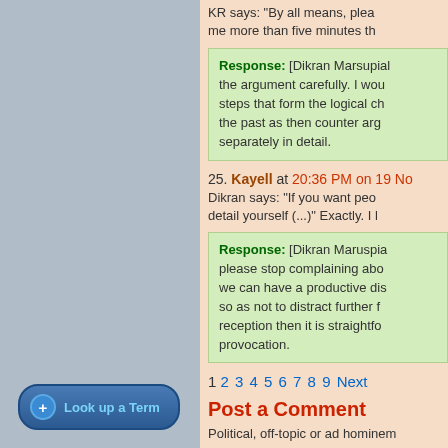KR says: "By all means, plea... me more than five minutes th...
Response: [Dikran Marsupial...] the argument carefully. I wou... steps that form the logical ch... the past as then counter arg... separately in detail.
25. Kayell at 20:36 PM on 19 No...
Dikran says: "If you want peo... detail yourself (...)" Exactly. I l...
Response: [Dikran Maruspial...] please stop complaining abo... we can have a productive dis... so as not to distract further f... reception then it is straightfo... provocation.
1 2 3 4 5 6 7 8 9 Next
Post a Comment
Political, off-topic or ad hominem...
You need to be logged in to post a... register here.
[Figure (other): Look up a Term button with blue gradient rounded rectangle and plus circle icon]